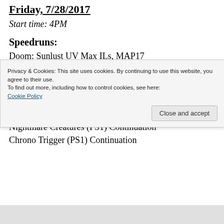Friday, 7/28/2017
Start time: 4PM
Speedruns:
Doom: Sunlust UV Max ILs, MAP17
Let's Play Percentage:
Dragonball GT: Final Bout (PS1) Continuation (If I didn't finish)
The Legend of Dragoon (PS1) Continuation
Nightmare Creatures (PS1) Continuation
Chrono Trigger (PS1) Continuation
Privacy & Cookies: This site uses cookies. By continuing to use this website, you agree to their use.
To find out more, including how to control cookies, see here:
Cookie Policy
Close and accept